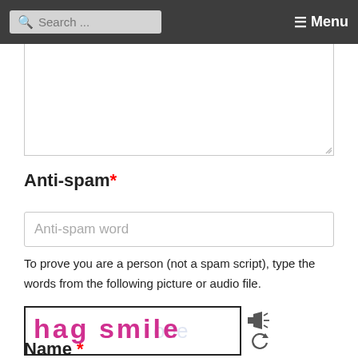Search ... Menu
[Figure (screenshot): Large textarea input box, partially visible at top of page]
Anti-spam *
[Figure (screenshot): Anti-spam word text input field]
To prove you are a person (not a spam script), type the words from the following picture or audio file.
[Figure (other): CAPTCHA image showing the text 'hag smile' in pink handwritten font, with audio and refresh icons]
Name *